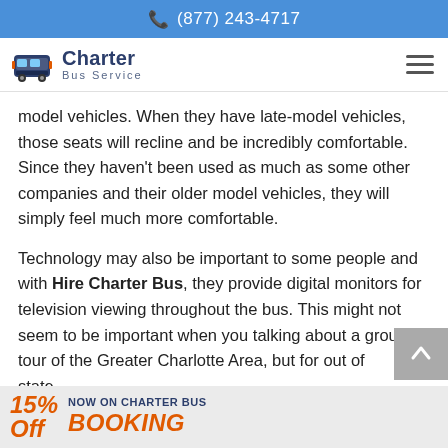(877) 243-4717
[Figure (logo): Charter Bus Service logo with bus icon]
model vehicles. When they have late-model vehicles, those seats will recline and be incredibly comfortable. Since they haven't been used as much as some other companies and their older model vehicles, they will simply feel much more comfortable.
Technology may also be important to some people and with Hire Charter Bus, they provide digital monitors for television viewing throughout the bus. This might not seem to be important when you talking about a group tour of the Greater Charlotte Area, but for out of state trips and other long distance travel needs, this can
15% Off NOW ON CHARTER BUS BOOKING